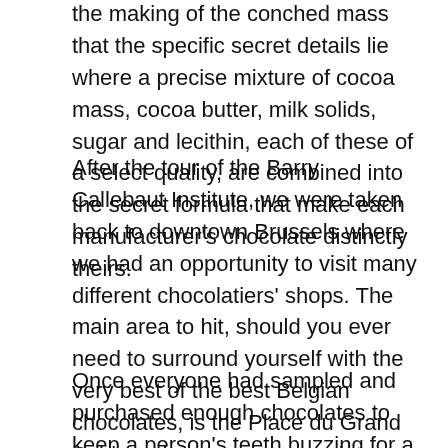the making of the conched mass that the specific secret details lie where a precise mixture of cocoa mass, cocoa butter, milk solids, sugar and lecithin, each of these of a select quality, are combined into the secret formula that make each manufacturer's chocolate distinctly theirs.
After the tour of the Barry Callebaut Institute, we were taken back to downtown Brussels where we had an opportunity to visit many different chocolatiers' shops. The main area to hit, should you ever need to surround yourself with the very best of the best Belgian chocolates, is the Place du Grand Sablon where you can pop into shops like Wittamer, Godiva, Pierre Marcoloni and other boutique chocolatiers.
Once everyone had sampled and purchased enough chocolates to keep a person's teeth buzzing for a few weeks, we headed back to Paris and a free weekend.